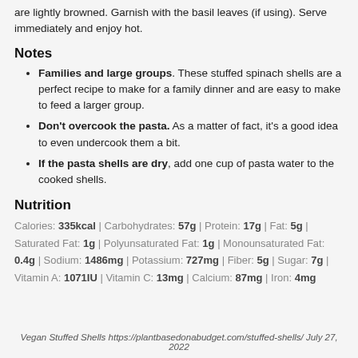are lightly browned. Garnish with the basil leaves (if using). Serve immediately and enjoy hot.
Notes
Families and large groups. These stuffed spinach shells are a perfect recipe to make for a family dinner and are easy to make to feed a larger group.
Don't overcook the pasta. As a matter of fact, it's a good idea to even undercook them a bit.
If the pasta shells are dry, add one cup of pasta water to the cooked shells.
Nutrition
Calories: 335kcal | Carbohydrates: 57g | Protein: 17g | Fat: 5g | Saturated Fat: 1g | Polyunsaturated Fat: 1g | Monounsaturated Fat: 0.4g | Sodium: 1486mg | Potassium: 727mg | Fiber: 5g | Sugar: 7g | Vitamin A: 1071IU | Vitamin C: 13mg | Calcium: 87mg | Iron: 4mg
Vegan Stuffed Shells https://plantbasedonabudget.com/stuffed-shells/ July 27, 2022